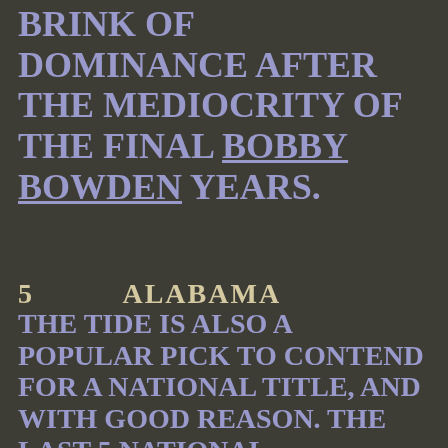BRINK OF DOMINANCE AFTER THE MEDIOCRITY OF THE FINAL BOBBY BOWDEN YEARS.
5          ALABAMA
THE TIDE IS ALSO A POPULAR PICK TO CONTEND FOR A NATIONAL TITLE, AND WITH GOOD REASON. THE LAST 5 NATIONAL CHAMPIONS HAVE ALL COME FROM THE SEC. IT WILL TAKE 2 LOSSES TO KNOCK 'BAMA OUT OF THE